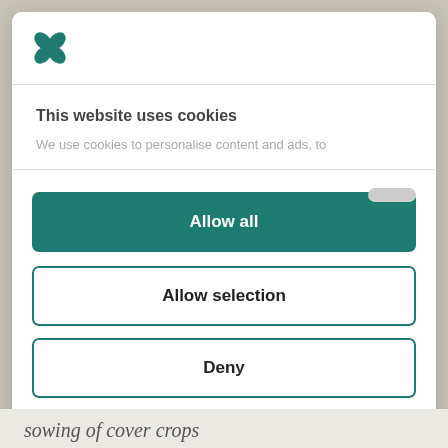[Figure (logo): Green four-petal flower/asterisk logo icon]
This website uses cookies
We use cookies to personalise content and ads, to
Allow all
Allow selection
Deny
Powered by Cookiebot by Usercentrics
sowing of cover crops